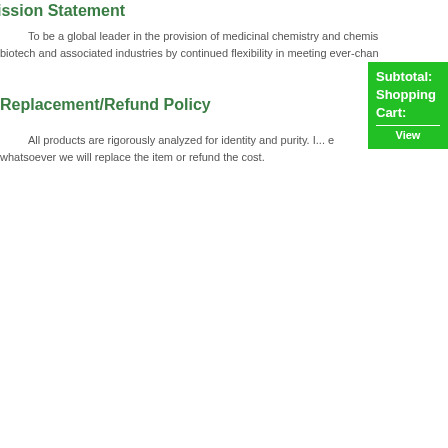Mission Statement
To be a global leader in the provision of medicinal chemistry and chemis... biotech and associated industries by continued flexibility in meeting ever-chan...
Replacement/Refund Policy
All products are rigorously analyzed for identity and purity. I... whatsoever we will replace the item or refund the cost.